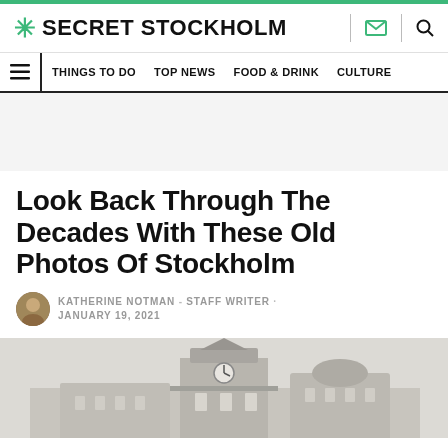SECRET STOCKHOLM
THINGS TO DO   TOP NEWS   FOOD & DRINK   CULTURE
Look Back Through The Decades With These Old Photos Of Stockholm
KATHERINE NOTMAN · STAFF WRITER · JANUARY 19, 2021
[Figure (photo): Black and white historical photo of Stockholm, showing an ornate building with a clock tower and architectural details]